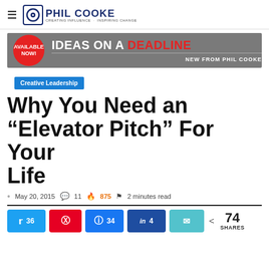Phil Cooke - Creating Influence · Inspiring Change
[Figure (infographic): Banner ad: red circle button 'AVAILABLE NOW!' on gray background, text 'IDEAS ON A DEADLINE' with DEADLINE in red, subtitle 'NEW FROM PHIL COOKE']
Creative Leadership
Why You Need an "Elevator Pitch" For Your Life
May 20, 2015 · 11 comments · 875 hot · 2 minutes read
36 Twitter shares, Pinterest, 34 Facebook shares, 4 LinkedIn shares, Email, 74 SHARES total